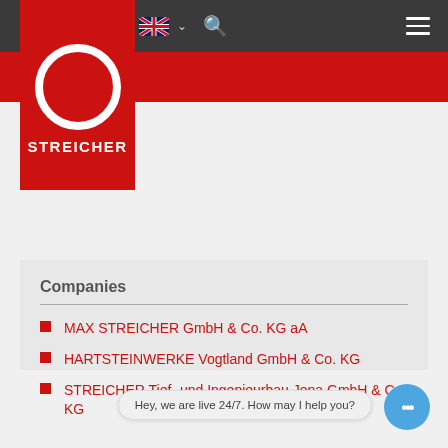[Figure (logo): Streicher logo: red square block with white circle ring and text STREICHER on a red background, displayed in top-left corner]
Companies
MAX STREICHER GmbH & Co. KG aA
HARTSTEINWERKE Vogtland GmbH & Co. KG
STREICHER Tief- und Ingenieurbau Jena GmbH & Co. KG
Hey, we are live 24/7. How may I help you?